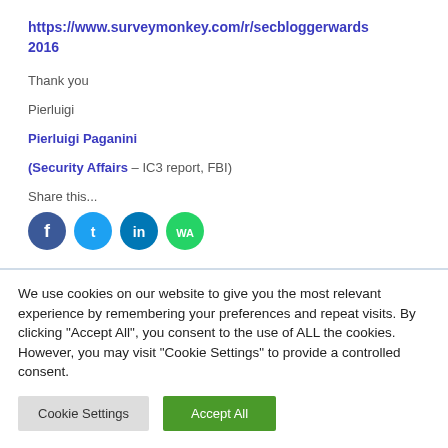https://www.surveymonkey.com/r/secbloggerwards2016
Thank you
Pierluigi
Pierluigi Paganini
(Security Affairs – IC3 report, FBI)
Share this...
[Figure (other): Four social media share icons (Facebook, Twitter, LinkedIn, WhatsApp) as colored circles]
We use cookies on our website to give you the most relevant experience by remembering your preferences and repeat visits. By clicking "Accept All", you consent to the use of ALL the cookies. However, you may visit "Cookie Settings" to provide a controlled consent.
Cookie Settings
Accept All